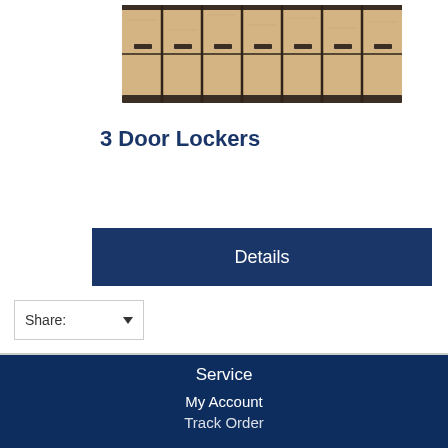[Figure (photo): Row of 3-door wooden lockers with light wood finish and dark handles, shown from the front]
3 Door Lockers
Details
Share:
Service
My Account
Track Order